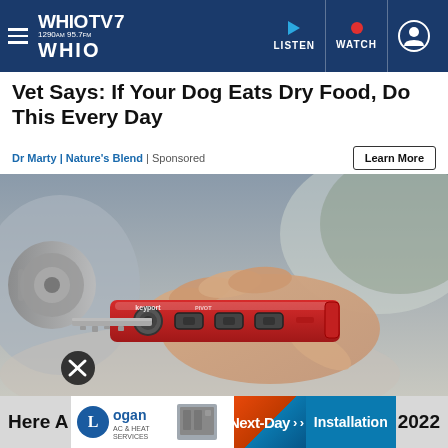WHIOTV 7 | 1290AM 95.7FM WHIO | LISTEN | WATCH
Vet Says: If Your Dog Eats Dry Food, Do This Every Day
Dr Marty | Nature's Blend | Sponsored
[Figure (photo): Hand holding a red Keyport PIVOT multi-tool key organizer being inserted into a door lock]
Here A... 2022